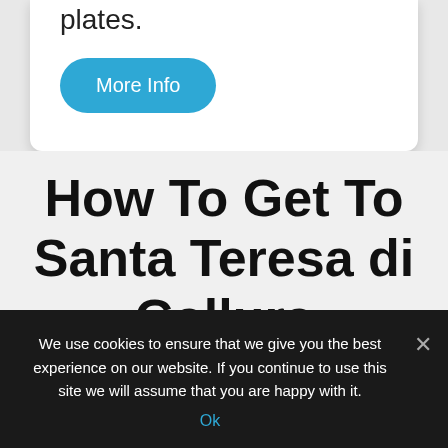plates.
More Info
How To Get To Santa Teresa di Gallura
We use cookies to ensure that we give you the best experience on our website. If you continue to use this site we will assume that you are happy with it.
Ok